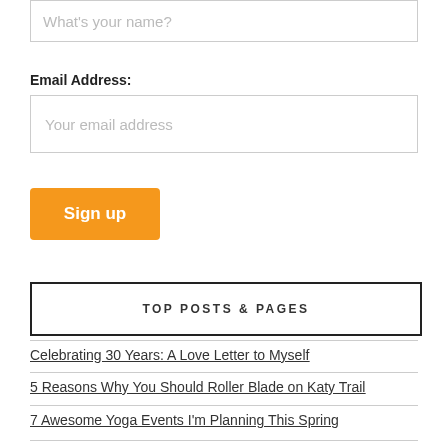What's your name?
Email Address:
Your email address
Sign up
TOP POSTS & PAGES
Celebrating 30 Years: A Love Letter to Myself
5 Reasons Why You Should Roller Blade on Katy Trail
7 Awesome Yoga Events I'm Planning This Spring